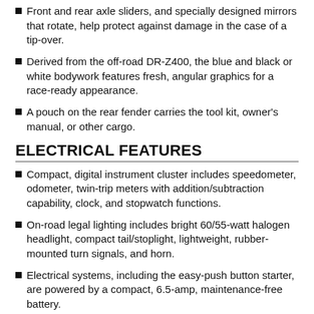Front and rear axle sliders, and specially designed mirrors that rotate, help protect against damage in the case of a tip-over.
Derived from the off-road DR-Z400, the blue and black or white bodywork features fresh, angular graphics for a race-ready appearance.
A pouch on the rear fender carries the tool kit, owner's manual, or other cargo.
ELECTRICAL FEATURES
Compact, digital instrument cluster includes speedometer, odometer, twin-trip meters with addition/subtraction capability, clock, and stopwatch functions.
On-road legal lighting includes bright 60/55-watt halogen headlight, compact tail/stoplight, lightweight, rubber-mounted turn signals, and horn.
Electrical systems, including the easy-push button starter, are powered by a compact, 6.5-amp, maintenance-free battery.